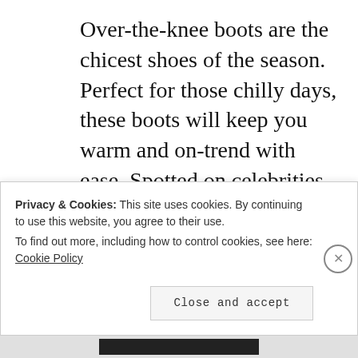Over-the-knee boots are the chicest shoes of the season. Perfect for those chilly days, these boots will keep you warm and on-trend with ease. Spotted on celebrities and street style stars, such as Gigi Hadid and Kendall Jenner, this trend is now being styled with oversized sweaters, skirts and casual shorts. The relaxed but elegant look is made complete
Privacy & Cookies: This site uses cookies. By continuing to use this website, you agree to their use.
To find out more, including how to control cookies, see here: Cookie Policy
Close and accept